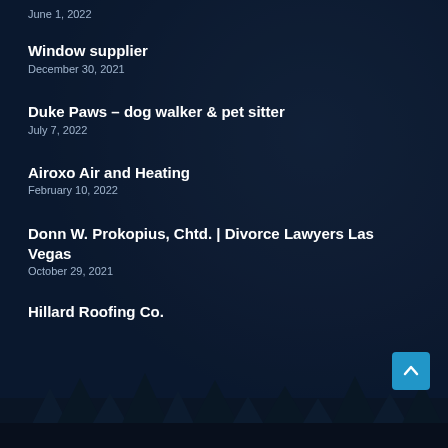June 1, 2022
Window supplier
December 30, 2021
Duke Paws – dog walker & pet sitter
July 7, 2022
Airoxo Air and Heating
February 10, 2022
Donn W. Prokopius, Chtd. | Divorce Lawyers Las Vegas
October 29, 2021
Hillard Roofing Co.